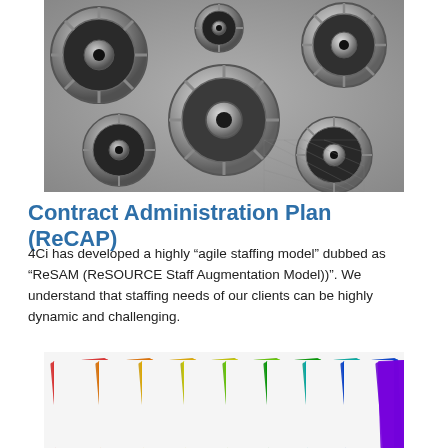[Figure (photo): Black and white photograph of interlocking mechanical gears of various sizes]
Contract Administration Plan (ReCAP)
4Ci has developed a highly “agile staffing model” dubbed as “ReSAM (ReSOURCE Staff Augmentation Model))”. We understand that staffing needs of our clients can be highly dynamic and challenging.
[Figure (photo): Colorful folders or binders fanned out in rainbow colors from red through orange, yellow, green, and blue]